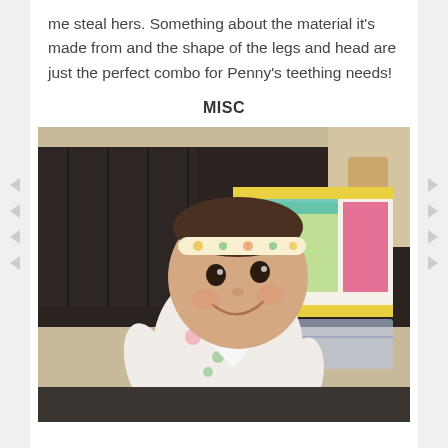me steal hers. Something about the material it's made from and the shape of the legs and head are just the perfect combo for Penny's teething needs!
MISC
[Figure (photo): A smiling baby girl wearing a floral headband and a floral bib/bandana scarf over a floral long-sleeve top, sitting on a dark sofa. Behind her is a colorful decorative pillow with travel-themed embroidery (Eiffel Tower, luggage, hot air balloon) and what appears to be children's clothing or fabric. The setting is a living room.]